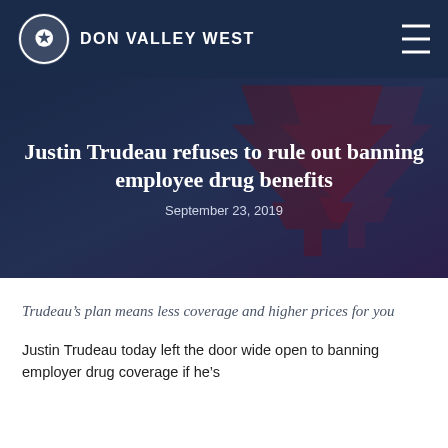DON VALLEY WEST
Justin Trudeau refuses to rule out banning employee drug benefits
September 23, 2019
Trudeau’s plan means less coverage and higher prices for you
Justin Trudeau today left the door wide open to banning employer drug coverage if he’s